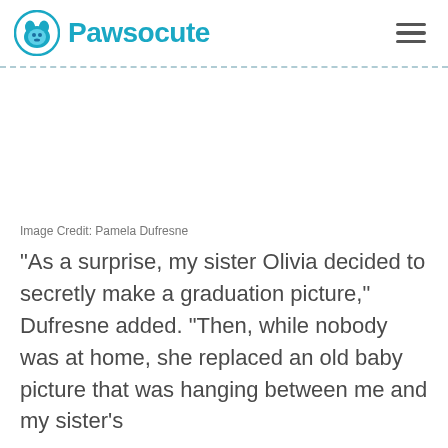Pawsocute
[Figure (other): Empty white image placeholder area]
Image Credit: Pamela Dufresne
“As a surprise, my sister Olivia decided to secretly make a graduation picture,” Dufresne added. “Then, while nobody was at home, she replaced an old baby picture that was hanging between me and my sister’s